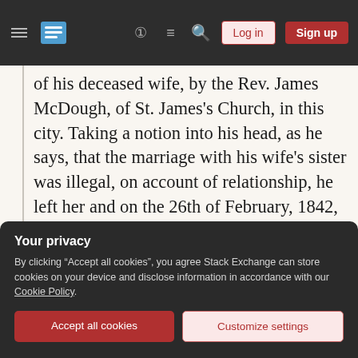Stack Exchange navigation bar with hamburger menu, logo, help, chat, search icons, Log in and Sign up buttons
of his deceased wife, by the Rev. James McDough, of St. James's Church, in this city. Taking a notion into his head, as he says, that the marriage with his wife's sister was illegal, on account of relationship, he left her and on the 26th of February, 1842, was married to Mary Ann Lorman by the Rev. M. A. Stillwell, under the name of Patrick McCasgrove alias McCasker. These circumstances being confirmed by the affidavit of Mr. McCarran, the Turk as locked up for trial.
Your privacy
By clicking “Accept all cookies”, you agree Stack Exchange can store cookies on your device and disclose information in accordance with our Cookie Policy.
Accept all cookies   Customize settings